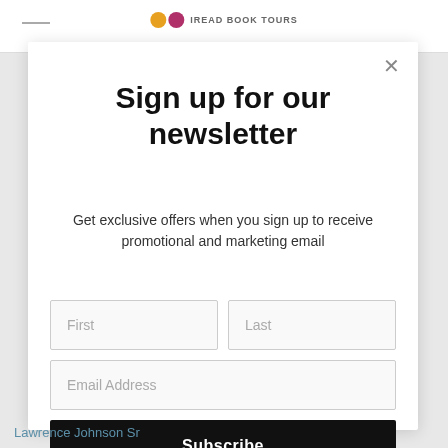[Figure (screenshot): Newsletter signup modal popup overlay on a website. Contains title, subtitle, form fields (First, Last, Email Address), and Subscribe button.]
Sign up for our newsletter
Get exclusive offers when you sign up to receive promotional and marketing email
Lawrence Johnson Sr